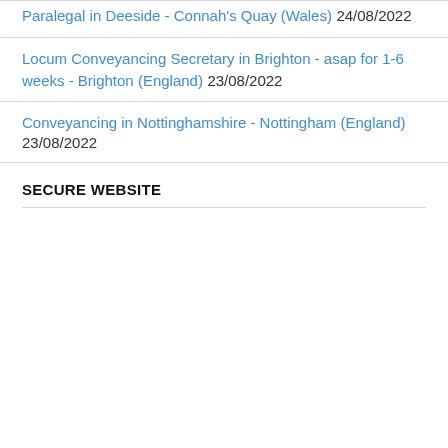Paralegal in Deeside - Connah's Quay (Wales) 24/08/2022
Locum Conveyancing Secretary in Brighton - asap for 1-6 weeks - Brighton (England) 23/08/2022
Conveyancing in Nottinghamshire - Nottingham (England) 23/08/2022
SECURE WEBSITE